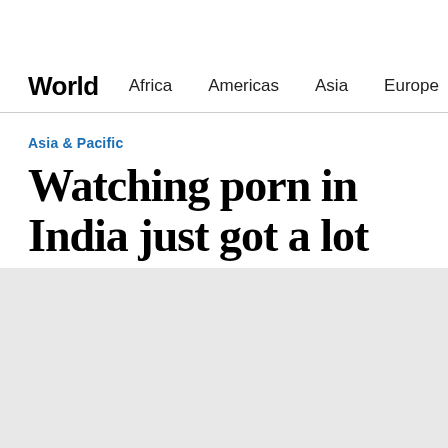World | Africa | Americas | Asia | Europe | Midd
Asia & Pacific
Watching porn in India just got a lot more difficult
[Figure (photo): Gray placeholder image area below the headline]